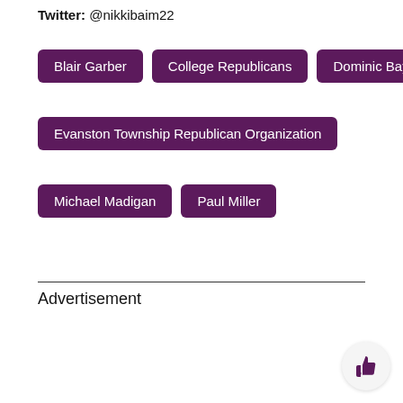Twitter: @nikkibaim22
Blair Garber
College Republicans
Dominic Bayer
Evanston Township Republican Organization
Michael Madigan
Paul Miller
Advertisement